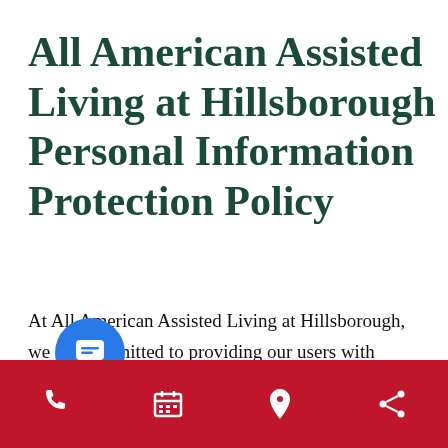All American Assisted Living at Hillsborough Personal Information Protection Policy
At All American Assisted Living at Hillsborough, we are committed to providing our users with exceptional service. As providing the collection, use and disclosur...